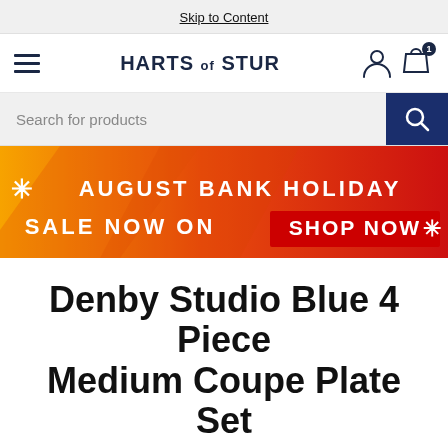Skip to Content
HARTS of STUR
[Figure (screenshot): Search bar with text 'Search for products' and a dark blue search button with magnifying glass icon]
[Figure (infographic): August Bank Holiday Sale Now On banner with orange-to-red gradient background, snowflake/star icons, and red 'SHOP NOW' button]
Denby Studio Blue 4 Piece Medium Coupe Plate Set
SKU 411042004